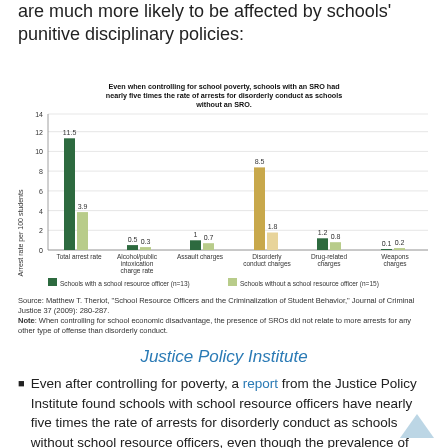are much more likely to be affected by schools' punitive disciplinary policies:
[Figure (grouped-bar-chart): Even when controlling for school poverty, schools with an SRO had nearly five times the rate of arrests for disorderly conduct as schools without an SRO.]
Source: Matthew T. Theriot, "School Resource Officers and the Criminalization of Student Behavior," Journal of Criminal Justice 37 (2009): 280-287. Note: When controlling for school economic disadvantage, the presence of SROs did not relate to more arrests for any other type of offense than disorderly conduct.
Justice Policy Institute
Even after controlling for poverty, a report from the Justice Policy Institute found schools with school resource officers have nearly five times the rate of arrests for disorderly conduct as schools without school resource officers, even though the prevalence of school resource officers in schools